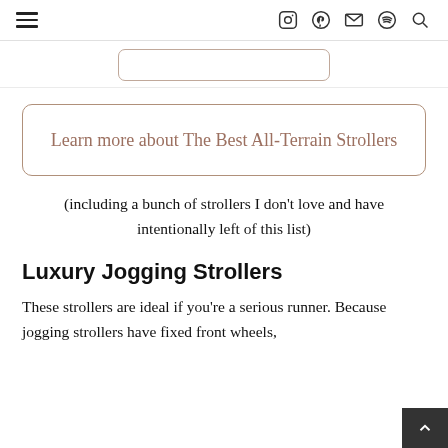≡  [icons: Instagram, Pinterest, Mail, Spotify, Search]
[Figure (other): Partial button/link at top, partially cropped]
Learn more about The Best All-Terrain Strollers
(including a bunch of strollers I don't love and have intentionally left of this list)
Luxury Jogging Strollers
These strollers are ideal if you're a serious runner. Because jogging strollers have fixed front wheels,